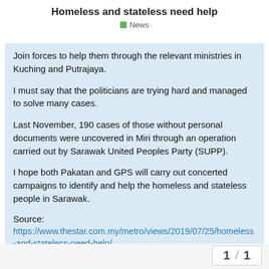Homeless and stateless need help
News
Join forces to help them through the relevant ministries in Kuching and Putrajaya.
I must say that the politicians are trying hard and managed to solve many cases.
Last November, 190 cases of those without personal documents were uncovered in Miri through an operation carried out by Sarawak United Peoples Party (SUPP).
I hope both Pakatan and GPS will carry out concerted campaigns to identify and help the homeless and stateless people in Sarawak.
Source:
https://www.thestar.com.my/metro/views/2019/07/25/homeless-and-stateless-need-help/
1 / 1